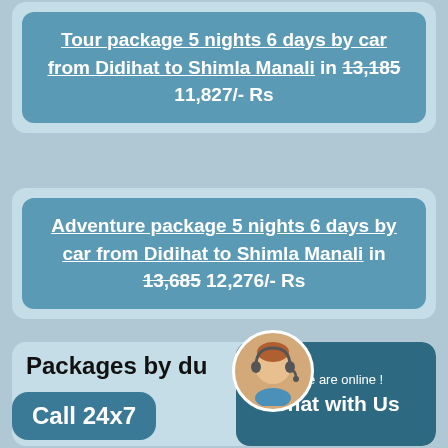Tour package 5 nights 6 days by car from Didihat to Shimla Manali in 13,185 11,827/- Rs
Adventure package 5 nights 6 days by car from Didihat to Shimla Manali in 13,685 12,276/- Rs
Packages by du... Shi...
Call 24x7
! We are online ! Chat with Us